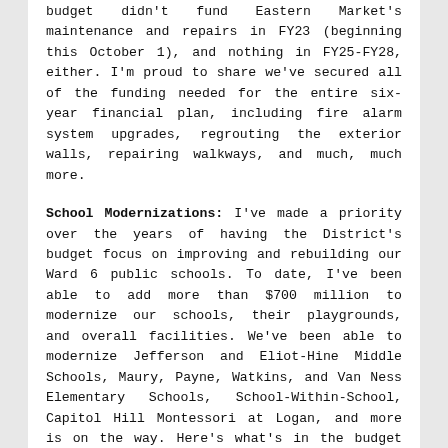budget didn't fund Eastern Market's maintenance and repairs in FY23 (beginning this October 1), and nothing in FY25-FY28, either. I'm proud to share we've secured all of the funding needed for the entire six-year financial plan, including fire alarm system upgrades, regrouting the exterior walls, repairing walkways, and much, much more.
School Modernizations: I've made a priority over the years of having the District's budget focus on improving and rebuilding our Ward 6 public schools. To date, I've been able to add more than $700 million to modernize our schools, their playgrounds, and overall facilities. We've been able to modernize Jefferson and Eliot-Hine Middle Schools, Maury, Payne, Watkins, and Van Ness Elementary Schools, School-Within-School, Capitol Hill Montessori at Logan, and more is on the way. Here's what's in the budget moving forward today for our Ward 6 schools: